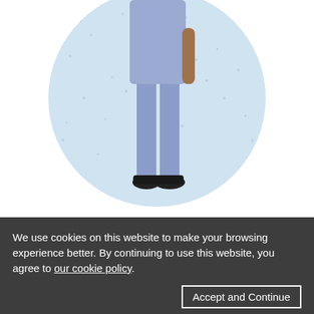[Figure (illustration): Illustration of a person in blue/purple scrubs and dark shoes, shown from the waist down, standing in front of a light blue circular speckled background.]
Responding to Covid
We use cookies on this website to make your browsing experience better. By continuing to use this website, you agree to our cookie policy.
Accept and Continue